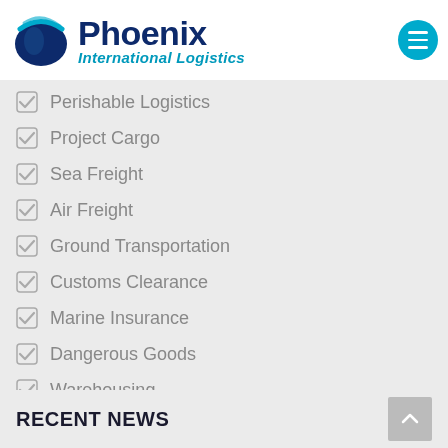[Figure (logo): Phoenix International Logistics logo with globe graphic, dark blue and teal colors, hamburger menu button]
Perishable Logistics
Project Cargo
Sea Freight
Air Freight
Ground Transportation
Customs Clearance
Marine Insurance
Dangerous Goods
Warehousing
Supply Chain Optimization
RECENT NEWS